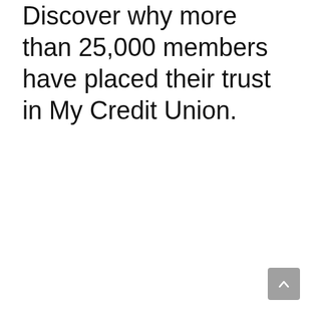Discover why more than 25,000 members have placed their trust in My Credit Union.
[Figure (other): Scroll-to-top button arrow in grey rounded square at bottom right corner]